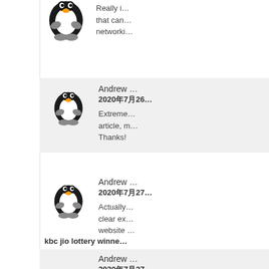[Figure (illustration): Linux Tux penguin avatar icon (partial, top cropped)]
Really i... that can... networki...
Andrew
2020年7月26
Extremely... article, m... Thanks!
[Figure (illustration): Linux Tux penguin avatar icon for Andrew comment]
Andrew
2020年7月27
Actually... clear ex... website
[Figure (illustration): Linux Tux penguin avatar icon for second Andrew comment]
kbc jio lottery winne
Andrew
2020年7月27
[Figure (illustration): Linux Tux penguin avatar icon (partial, bottom)]